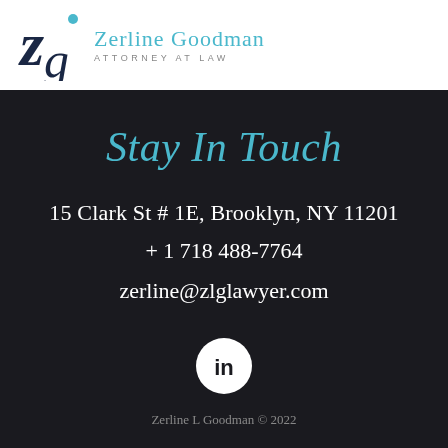[Figure (logo): ZG Zerline Goodman Attorney at Law logo with stylized ZG monogram in dark navy and teal dot]
Stay In Touch
15 Clark St # 1E, Brooklyn, NY 11201
+ 1 718 488-7764
zerline@zlglawyer.com
[Figure (illustration): LinkedIn icon — white 'in' text on white circle with dark background]
Zerline L Goodman © 2022